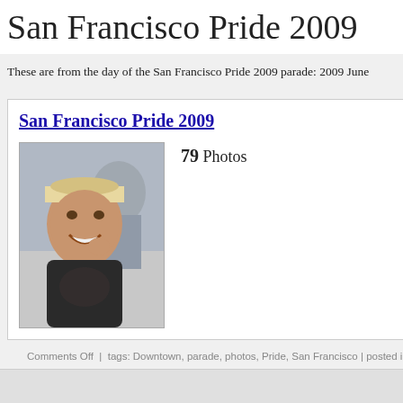San Francisco Pride 2009
These are from the day of the San Francisco Pride 2009 parade: 2009 June
San Francisco Pride 2009
79 Photos
[Figure (photo): A smiling man wearing a cap at a parade]
Comments Off | tags: Downtown, parade, photos, Pride, San Francisco | posted in ph